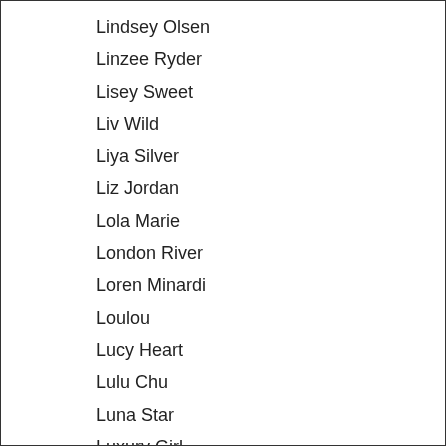Lindsey Olsen
Linzee Ryder
Lisey Sweet
Liv Wild
Liya Silver
Liz Jordan
Lola Marie
London River
Loren Minardi
Loulou
Lucy Heart
Lulu Chu
Luna Star
Luxury Girl
Lya Missy